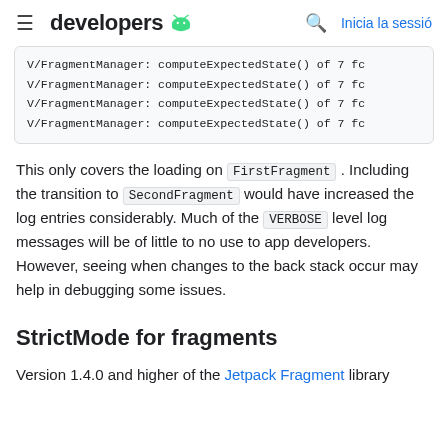≡ developers 🤖   🔍  Inicia la sessió
V/FragmentManager: computeExpectedState() of 7 fc
V/FragmentManager: computeExpectedState() of 7 fc
V/FragmentManager: computeExpectedState() of 7 fc
V/FragmentManager: computeExpectedState() of 7 fc
This only covers the loading on FirstFragment . Including the transition to SecondFragment would have increased the log entries considerably. Much of the VERBOSE level log messages will be of little to no use to app developers. However, seeing when changes to the back stack occur may help in debugging some issues.
StrictMode for fragments
Version 1.4.0 and higher of the Jetpack Fragment library